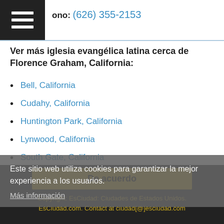Teléfono: (626) 355-2153
Ver más iglesia evangélica latina cerca de Florence Graham, California:
Bell, California
Cudahy, California
Huntington Park, California
Lynwood, California
South Gate, California
Vernon, California
Walnut Park, California
Este sitio web utiliza cookies para garantizar la mejor experiencia a los usuarios.
Más información
De acuerdo
Copyright: EsCiudad: Ciudades de Estados Unidos. EsCiudad.com. Contact at ciudad[@]esciudad.com